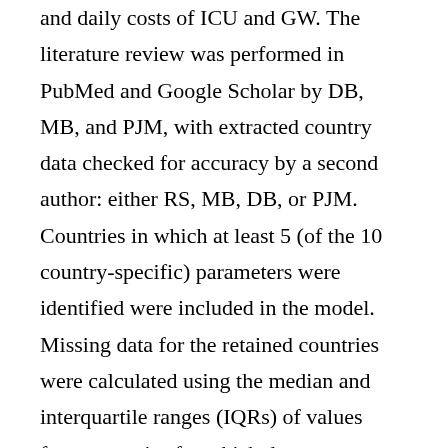and daily costs of ICU and GW. The literature review was performed in PubMed and Google Scholar by DB, MB, and PJM, with extracted country data checked for accuracy by a second author: either RS, MB, DB, or PJM. Countries in which at least 5 (of the 10 country-specific) parameters were identified were included in the model. Missing data for the retained countries were calculated using the median and interquartile ranges (IQRs) of values from countries for which data were available. In values for which more than one study was found, the midpoint was used. The robustness of the model was assessed using probabilistic sensitivity analysis with 52 iterations per country.